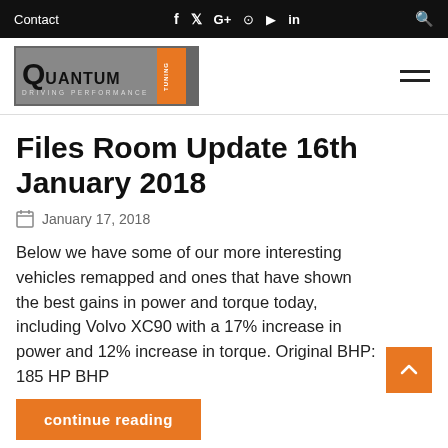Contact  f  y  G+  Instagram  YouTube  in  Search
[Figure (logo): Quantum Tuning Driving Performance logo — grey/orange branding with vertical orange bar elements and stylized Q]
Files Room Update 16th January 2018
January 17, 2018
Below we have some of our more interesting vehicles remapped and ones that have shown the best gains in power and torque today, including Volvo XC90 with a 17% increase in power and 12% increase in torque. Original BHP: 185 HP BHP
continue reading